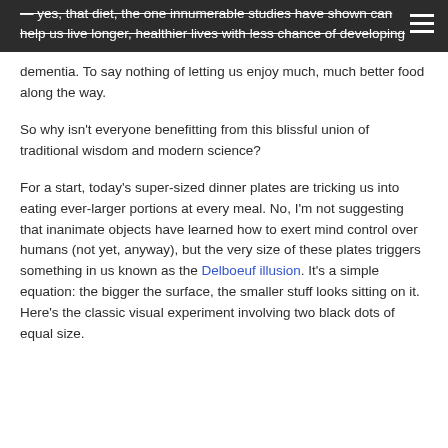— yes, that diet, the one innumerable studies have shown can help us live longer, healthier lives with less chance of developing dementia. To say nothing of letting us enjoy much, much better food along the way.
So why isn't everyone benefitting from this blissful union of traditional wisdom and modern science?
For a start, today's super-sized dinner plates are tricking us into eating ever-larger portions at every meal. No, I'm not suggesting that inanimate objects have learned how to exert mind control over humans (not yet, anyway), but the very size of these plates triggers something in us known as the Delboeuf illusion. It's a simple equation: the bigger the surface, the smaller stuff looks sitting on it. Here's the classic visual experiment involving two black dots of equal size.